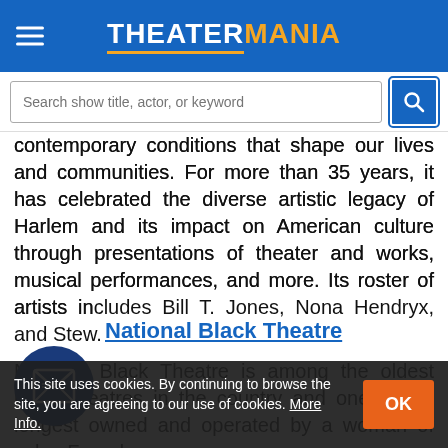THEATERMANIA
Search show title, actor, or keyword
contemporary conditions that shape our lives and communities. For more than 35 years, it has celebrated the diverse artistic legacy of Harlem and its impact on American culture through presentations of theater and works, musical performances, and more. Its roster of artists includes Bill T. Jones, Nona Hendryx, and Stew.
National Black Theatre
National Black Theatre is among the oldest black theatres in the country and one of the longest owned and operated by a woman of color. Founded in
This site uses cookies. By continuing to browse the site, you are agreeing to our use of cookies. More Info.